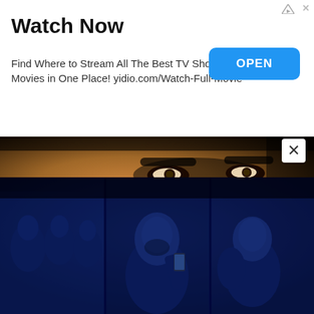[Figure (screenshot): Advertisement banner: Watch Now - Find Where to Stream All The Best TV Shows & Movies in One Place! yidio.com/Watch-Full-Movie with OPEN button]
Watch Now
Find Where to Stream All The Best TV Shows & Movies in One Place! yidio.com/Watch-Full-Movie
[Figure (photo): Movie promotional image for Infernal Affairs showing close-up of a man's eyes at top, large blue italic title 'INFERNAL AFFAIRS' in center on dark background, and film scene strip at bottom with actors in blue-tinted action scenes]